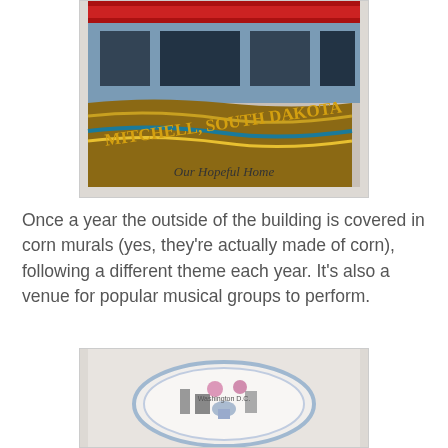[Figure (photo): Photo of a Mitchell, South Dakota souvenir or postcard showing a building with red decoration at the top and large text reading 'MITCHELL, SOUTH DAKOTA' in gold letters on a brown wavy surface. Watermark reads 'Our Hopeful Home' in script.]
Once a year the outside of the building is covered in corn murals (yes, they're actually made of corn), following a different theme each year. It's also a venue for popular musical groups to perform.
[Figure (photo): Photo of a decorative souvenir plate featuring landmarks of Washington D.C. including buildings, monuments, and cherry blossoms with text 'Washington D.C.' visible.]